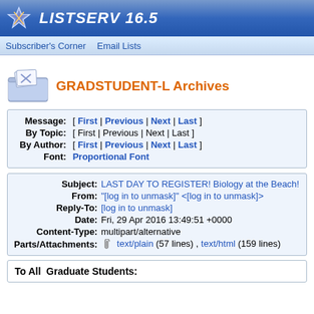LISTSERV 16.5
Subscriber's Corner  Email Lists
GRADSTUDENT-L Archives
GRADSTUDENT-L@LISTS.UFL.EDU
| Label | Links |
| --- | --- |
| Message: | [ First | Previous | Next | Last ] |
| By Topic: | [ First | Previous | Next | Last ] |
| By Author: | [ First | Previous | Next | Last ] |
| Font: | Proportional Font |
| Field | Value |
| --- | --- |
| Subject: | LAST DAY TO REGISTER! Biology at the Beach! |
| From: | "[log in to unmask]" <[log in to unmask]> |
| Reply-To: | [log in to unmask] |
| Date: | Fri, 29 Apr 2016 13:49:51 +0000 |
| Content-Type: | multipart/alternative |
| Parts/Attachments: | text/plain (57 lines) , text/html (159 lines) |
To All  Graduate Students: